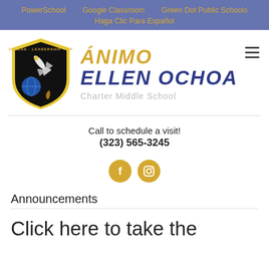PowerSchool   Google Classroom   Green Dot Public Schools   Haga Clic Para Español
[Figure (logo): Ánimo Ellen Ochoa Charter Middle School logo with shield containing space shuttle and earth, school name in gold and navy]
Call to schedule a visit!
(323) 565-3245
[Figure (infographic): Facebook and Instagram social media icon buttons in gold circles]
Announcements
Click here to take the